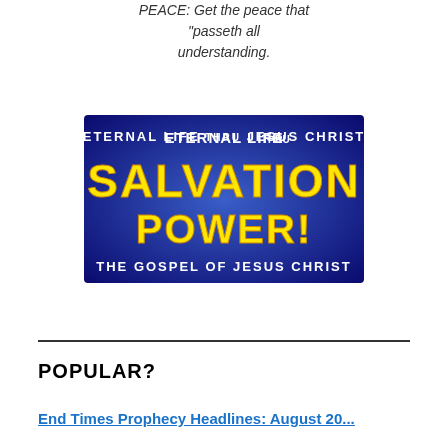PEACE: Get the peace that "passeth all understanding.
[Figure (illustration): Blue banner advertisement reading 'ETERNAL LIFE THRU JESUS CHRIST - SALVATION POWER! - THE GOSPEL OF JESUS CHRIST' with bold yellow text on a dark blue gradient background]
POPULAR?
End Times Prophecy Headlines: August 20...